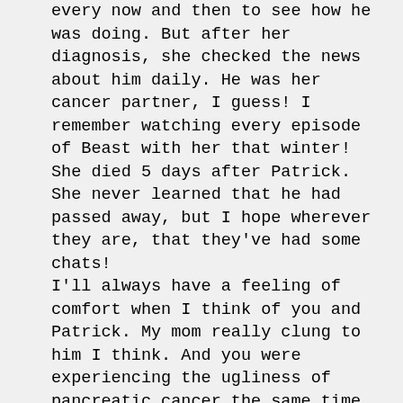every now and then to see how he was doing. But after her diagnosis, she checked the news about him daily. He was her cancer partner, I guess! I remember watching every episode of Beast with her that winter! She died 5 days after Patrick. She never learned that he had passed away, but I hope wherever they are, that they've had some chats!
I'll always have a feeling of comfort when I think of you and Patrick. My mom really clung to him I think. And you were experiencing the ugliness of pancreatic cancer the same time my family was.
I pray for peace and happiness for you!
Casey